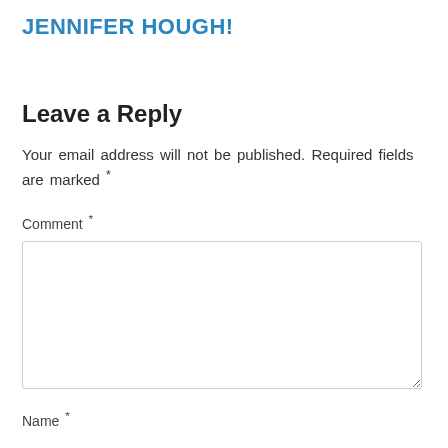JENNIFER HOUGH!
Leave a Reply
Your email address will not be published. Required fields are marked *
Comment *
Name *